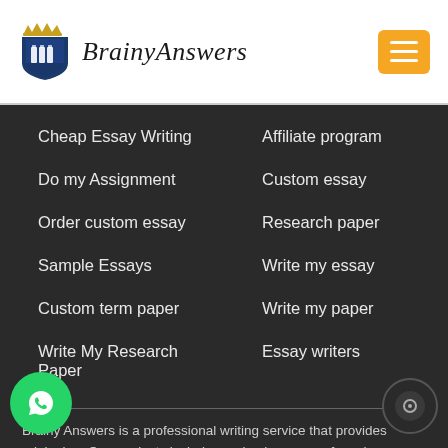[Figure (logo): BrainyAnswers logo with shield/book icon and italic script text, plus orange hamburger menu button]
Cheap Essay Writing
Affiliate program
Do my Assignment
Custom essay
Order custom essay
Research paper
Sample Essays
Write my essay
Custom term paper
Write my paper
Write My Research Paper
Essay writers
Brainy Answers is a professional writing service that provides original rs. Our products include academic papers of varying complexity other personalized services, along with research materials f assistance purposes only. All the materials from our website should be